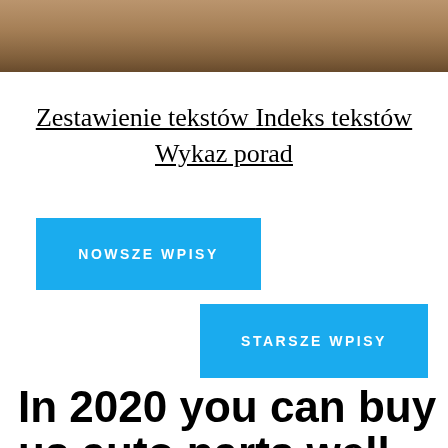[Figure (photo): Blurred photo strip at top of page, warm brown/beige tones, appears to show a person or object in soft focus]
Zestawienie tekstów Indeks tekstów Wykaz porad
NOWSZE WPISY
STARSZE WPISY
In 2020 you can buy us auto parts well, but in 10 years too?